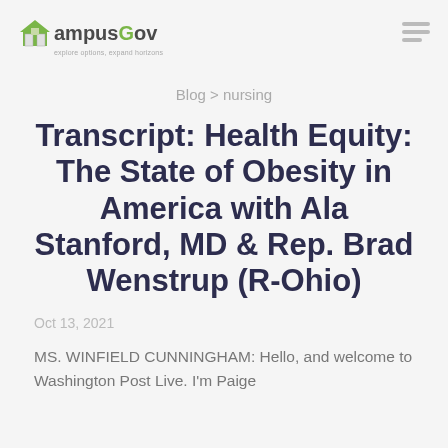[Figure (logo): CampusGov logo with house icon and tagline 'explore options, expand horizons']
Blog > nursing
Transcript: Health Equity: The State of Obesity in America with Ala Stanford, MD & Rep. Brad Wenstrup (R-Ohio)
Oct 13, 2021
MS. WINFIELD CUNNINGHAM: Hello, and welcome to Washington Post Live. I'm Paige